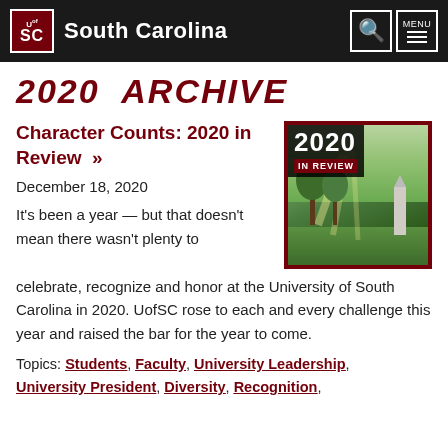South Carolina
2020 ARCHIVE
Character Counts: 2020 in Review »
[Figure (photo): 2020 In Review image showing a sunlit park with a monument and trees, with a dark overlay box showing '2020 IN REVIEW' text in white and red]
December 18, 2020
It's been a year — but that doesn't mean there wasn't plenty to celebrate, recognize and honor at the University of South Carolina in 2020. UofSC rose to each and every challenge this year and raised the bar for the year to come.
Topics: Students, Faculty, University Leadership, University President, Diversity, Recognition,